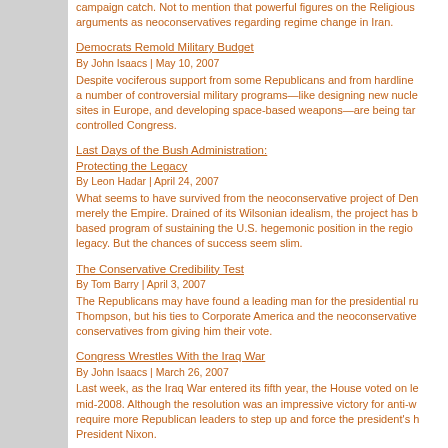campaign catch. Not to mention that powerful figures on the Religious arguments as neoconservatives regarding regime change in Iran.
Democrats Remold Military Budget
By John Isaacs | May 10, 2007
Despite vociferous support from some Republicans and from hardline a number of controversial military programs—like designing new nucle sites in Europe, and developing space-based weapons—are being tar controlled Congress.
Last Days of the Bush Administration: Protecting the Legacy
By Leon Hadar | April 24, 2007
What seems to have survived from the neoconservative project of Den merely the Empire. Drained of its Wilsonian idealism, the project has b based program of sustaining the U.S. hegemonic position in the regio legacy. But the chances of success seem slim.
The Conservative Credibility Test
By Tom Barry | April 3, 2007
The Republicans may have found a leading man for the presidential ru Thompson, but his ties to Corporate America and the neoconservative conservatives from giving him their vote.
Congress Wrestles With the Iraq War
By John Isaacs | March 26, 2007
Last week, as the Iraq War entered its fifth year, the House voted on le mid-2008. Although the resolution was an impressive victory for anti-w require more Republican leaders to step up and force the president's h President Nixon.
"A Great Little Racket": The Neocon Media Machine
By Eli Clifton | March 20, 2007